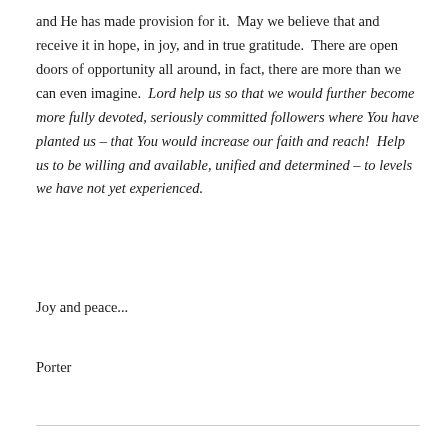and He has made provision for it.  May we believe that and receive it in hope, in joy, and in true gratitude.  There are open doors of opportunity all around, in fact, there are more than we can even imagine.  Lord help us so that we would further become more fully devoted, seriously committed followers where You have planted us – that You would increase our faith and reach!  Help us to be willing and available, unified and determined – to levels we have not yet experienced.
Joy and peace...
Porter